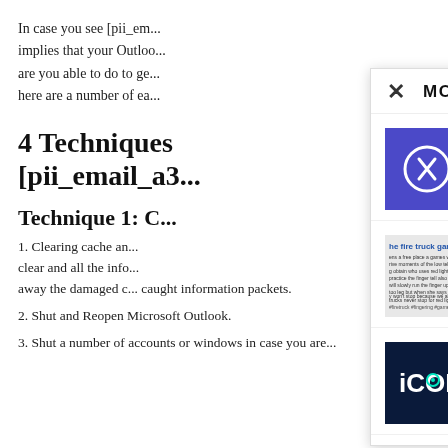In case you see [pii_em... implies that your Outloo... are you able to do to ge... here are a number of ea...
4 Techniques [pii_email_a3...
Technique 1: C...
1. Clearing cache an... clear and all the info... away the damaged c... caught information packets.
2. Shut and Reopen Microsoft Outlook.
3. Shut a number of accounts or windows in case you are...
[Figure (screenshot): Overlay panel titled MORE STORIES with close X button, showing three story rows: ZRX Price Prediction 2022 2023 2024 2025 2026, Firetruck game - What... it? Why you shouldn't agree to..., ICON Price Prediction 2022-2026]
ZRX Price Prediction 2022, 2023, 2024, 2025 2026
May 30, 2022
Firetruck game – Wha... it? Why you shouldn't agree to...
June 22, 2021
ICON Price Prediction 2022-2026
May 31, 2022